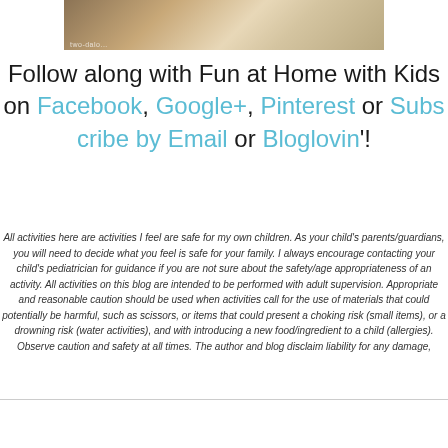[Figure (photo): Partial view of a bird (likely a duck or similar waterfowl) with feathers visible, against a brown/tan background. Watermark reads 'two-daloo...' in bottom left corner.]
Follow along with Fun at Home with Kids on Facebook, Google+, Pinterest or Subscribe by Email or Bloglovin'!
All activities here are activities I feel are safe for my own children.  As your child's parents/guardians, you will need to decide what you feel is safe for your family.  I always encourage contacting your child's pediatrician for guidance if you are not sure about the safety/age appropriateness of an activity. All activities on this blog are intended to be performed with adult supervision.  Appropriate and reasonable caution should be used when activities call for the use of materials that could potentially be harmful, such as scissors, or items that could present a choking risk (small items), or a drowning risk (water activities), and with introducing a new food/ingredient to a child (allergies).  Observe caution and safety at all times.  The author and blog disclaim liability for any damage,